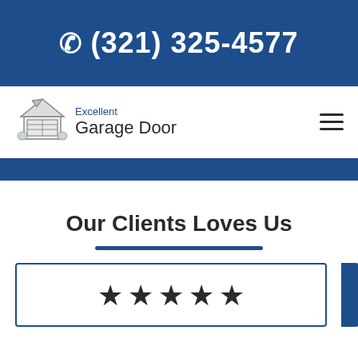☎ (321) 325-4577
[Figure (logo): Excellent Garage Door logo with house illustration, text reads 'Excellent Garage Door']
Our Clients Loves Us
[Figure (infographic): Five filled star rating icons displayed in a row inside a bordered review card]